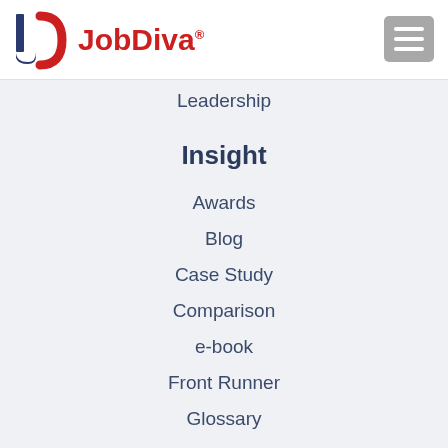[Figure (logo): JobDiva logo with JD monogram in navy/red and 'JobDiva' text in red with registered trademark symbol]
Leadership
Insight
Awards
Blog
Case Study
Comparison
e-book
Front Runner
Glossary
Vault